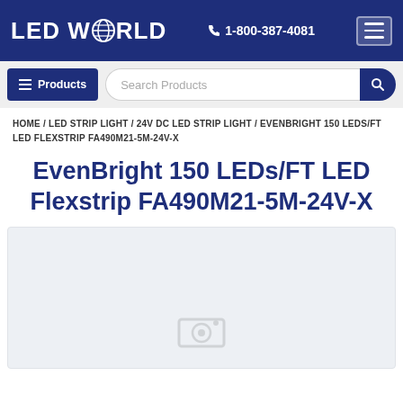LED WORLD | 1-800-387-4081
≡ Products | Search Products
HOME / LED STRIP LIGHT / 24V DC LED STRIP LIGHT / EVENBRIGHT 150 LEDS/FT LED FLEXSTRIP FA490M21-5M-24V-X
EvenBright 150 LEDs/FT LED Flexstrip FA490M21-5M-24V-X
[Figure (photo): Product image area - light gray background placeholder for product photo]